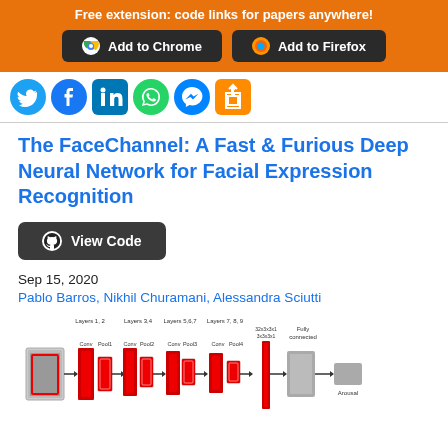Free extension: code links for papers anywhere! Add to Chrome  Add to Firefox
[Figure (other): Social media sharing icons: Twitter, Facebook, LinkedIn, WhatsApp, Messenger, and an orange share button]
The FaceChannel: A Fast & Furious Deep Neural Network for Facial Expression Recognition
[Figure (other): GitHub View Code button]
Sep 15, 2020
Pablo Barros, Nikhil Churamani, Alessandra Sciutti
[Figure (engineering-diagram): Neural network architecture diagram showing layers 1,2 (Conv, Pool1), layers 3,4 (Conv, Pool2), layers 5,6,7 (Conv, Pool3), layers 7,8,9 (Conv, Pool4), and a Fully Connected layer leading to Arousal output. Input is a face image with a red bounding box.]